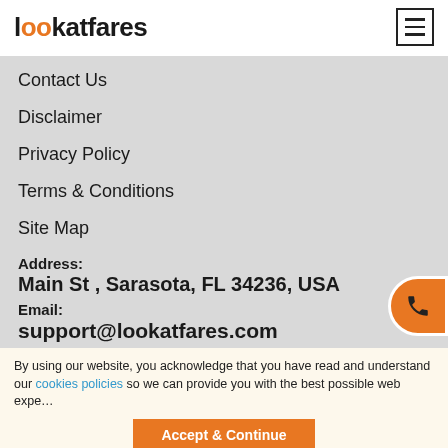lookatfares
Contact Us
Disclaimer
Privacy Policy
Terms & Conditions
Site Map
Address:
Main St , Sarasota, FL 34236, USA
Email:
support@lookatfares.com
Phone:
+1-888-789-9588
By using our website, you acknowledge that you have read and understood our cookies policies so we can provide you with the best possible web experience.
Accept & Continue